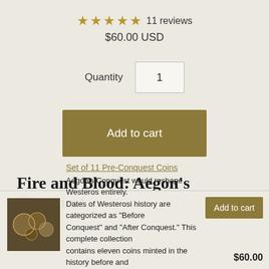★★★★★ 11 reviews
$60.00 USD
Quantity  1
Add to cart
Fire and Blood: Aegon's Conquest
Aegon's Conquest would reshape Westeros entirely. Dates of Westerosi history are categorized as "Before Conquest" and "After Conquest." This complete collection contains eleven coins minted in the history before and during Aegon's conquest of Westeros. The coins in this
Set of 11 Pre-Conquest Coins
Add to cart
1
$60.00